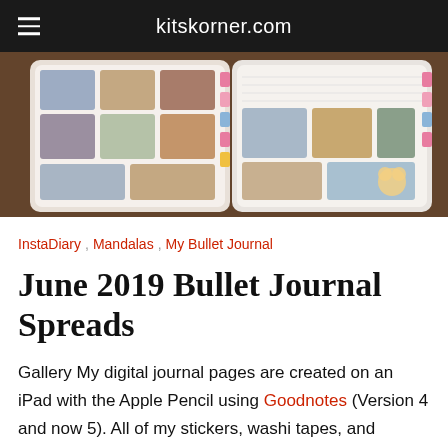kitskorner.com
[Figure (photo): Two open bullet journal spreads displayed on iPad screens showing colorful photo collages, stickers, and handwritten notes]
InstaDiary , Mandalas , My Bullet Journal
June 2019 Bullet Journal Spreads
Gallery My digital journal pages are created on an iPad with the Apple Pencil using Goodnotes (Version 4 and now 5). All of my stickers, washi tapes, and various other goodies are created by myself and are not for public use. Any that are sold or offered for your use